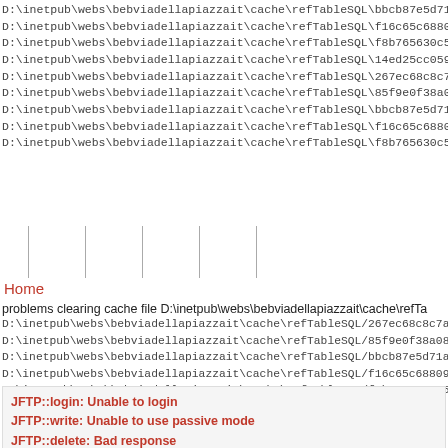D:\inetpub\webs\bebviadellapiazzait\cache\refTableSQL\bbcb87e5d71ae017a...
D:\inetpub\webs\bebviadellapiazzait\cache\refTableSQL\f16c65c68809d874de...
D:\inetpub\webs\bebviadellapiazzait\cache\refTableSQL\f8b765630c55fd68f7...
D:\inetpub\webs\bebviadellapiazzait\cache\refTableSQL\14ed25cc0598531db...
D:\inetpub\webs\bebviadellapiazzait\cache\refTableSQL\267ec68c8c7aed7c53...
D:\inetpub\webs\bebviadellapiazzait\cache\refTableSQL\85f9e0f38a08d2fdfc1...
D:\inetpub\webs\bebviadellapiazzait\cache\refTableSQL\bbcb87e5d71ae017a...
D:\inetpub\webs\bebviadellapiazzait\cache\refTableSQL\f16c65c68809d874de...
D:\inetpub\webs\bebviadellapiazzait\cache\refTableSQL\f8b765630c55fd68f7...
Home
problems clearing cache file D:\inetpub\webs\bebviadellapiazzait\cache\refTa...
D:\inetpub\webs\bebviadellapiazzait\cache\refTableSQL\267ec68c8c7aed7c...
D:\inetpub\webs\bebviadellapiazzait\cache\refTableSQL\85f9e0f38a08d2fdfc...
D:\inetpub\webs\bebviadellapiazzait\cache\refTableSQL\bbcb87e5d71ae017...
D:\inetpub\webs\bebviadellapiazzait\cache\refTableSQL\f16c65c68809d874d...
D:\inetpub\webs\bebviadellapiazzait\cache\refTableSQL\f8b765630c55fd68f...
JFTP::login: Unable to login
JFTP::write: Unable to use passive mode
JFTP::delete: Bad response
JFTP::delete: Bad response